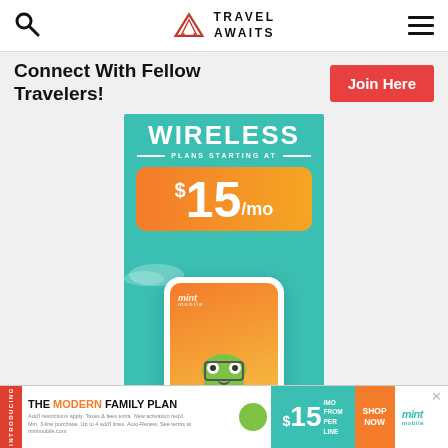Travel Awaits — navigation header with search icon, logo, and hamburger menu
Connect With Fellow Travelers!
Join Here
[Figure (advertisement): Mint Mobile wireless ad: WIRELESS plans starting at $15/mo with orange gradient price box, teal background, phone with Mint Mobile mascot character]
[Figure (advertisement): Bottom sticky Mint Mobile banner: INTRODUCING THE MODERN FAMILY PLAN — $15/MO FROM PER LINE — SHOP NOW — mint mobile]